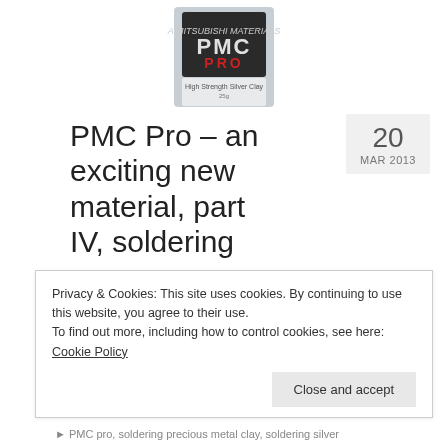[Figure (photo): PMC Pro product package - silver clay packaging showing 'PMC PRO High Strength Silver Clay 25g' label]
PMC Pro – an exciting new material, part IV, soldering
20 MAR 2013
by Zilvera | posted in: precious metal clay, soldering | 0
Is PMC Standard really THE most difficult silver clay to solder? If you like challenges, try to solder PMC Pro.
Privacy & Cookies: This site uses cookies. By continuing to use this website, you agree to their use.
To find out more, including how to control cookies, see here: Cookie Policy
Close and accept
PMC pro, soldering precious metal clay, soldering silver